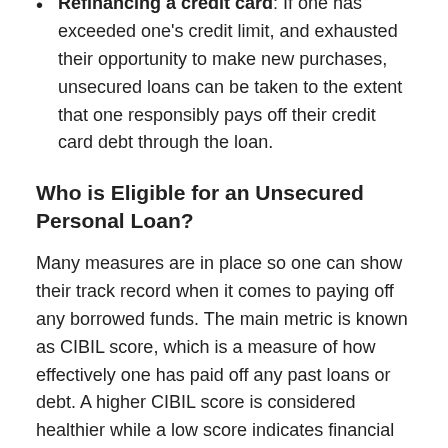Refinancing a credit card: If one has exceeded one's credit limit, and exhausted their opportunity to make new purchases, unsecured loans can be taken to the extent that one responsibly pays off their credit card debt through the loan.
Who is Eligible for an Unsecured Personal Loan?
Many measures are in place so one can show their track record when it comes to paying off any borrowed funds. The main metric is known as CIBIL score, which is a measure of how effectively one has paid off any past loans or debt. A higher CIBIL score is considered healthier while a low score indicates financial irresponsibility when it comes to loan repayment. If a candidate has a somewhat low CIBIL score that barely meets the criteria for 'good,' it can be difficult to receive unsecured personal loans.
If they do receive them, the personal loan interest rates may